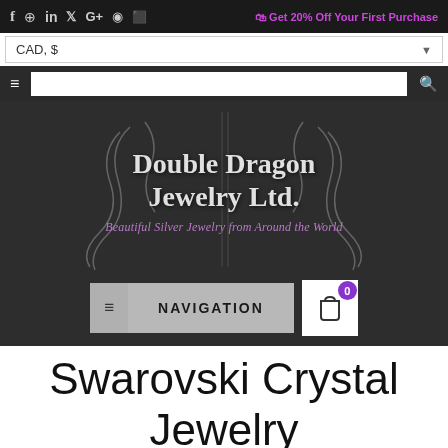f  ⊕  in  𝕏  G+  📷  ⬛  🛍 Get 20% Off Your First Purchase
CAD, $
[Figure (screenshot): Website header with social media icons, currency selector, search bar, Double Dragon Jewelry Ltd. logo with tagline 'Beautiful Silver Jewelry from Around the World', navigation bar, and cart button]
Swarovski Crystal Jewelry